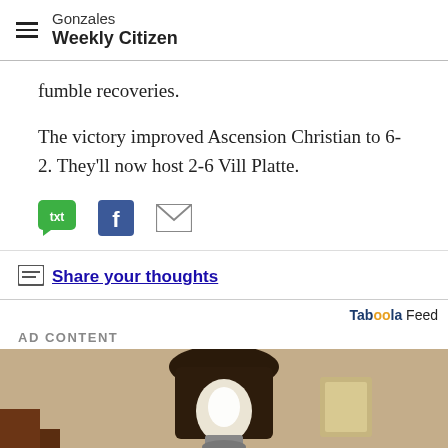Gonzales Weekly Citizen
fumble recoveries.
The victory improved Ascension Christian to 6-2. They'll now host 2-6 Vill Platte.
[Figure (infographic): Social sharing icons: txt (green speech bubble), Facebook (blue f), email (grey envelope)]
Share your thoughts
Taboola Feed
AD CONTENT
[Figure (photo): Close-up photo of an outdoor wall light fixture mounted on a textured stucco wall, with a glowing LED bulb visible inside the lantern-style black metal casing.]